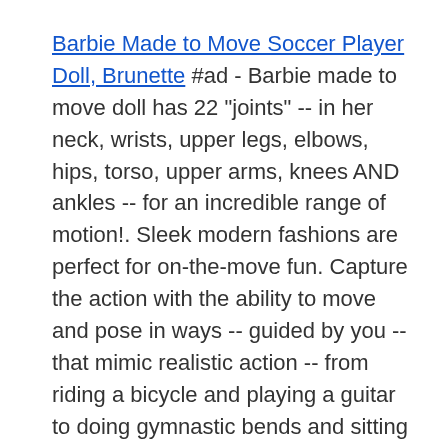Barbie Made to Move Soccer Player Doll, Brunette #ad - Barbie made to move doll has 22 "joints" -- in her neck, wrists, upper legs, elbows, hips, torso, upper arms, knees AND ankles -- for an incredible range of motion!. Sleek modern fashions are perfect for on-the-move fun. Capture the action with the ability to move and pose in ways -- guided by you -- that mimic realistic action -- from riding a bicycle and playing a guitar to doing gymnastic bends and sitting crisscross applesauce to owning a runway or taking selfies!
Barbie martial artist doll features extra flexibility for extra-cool moves -- 22 "joints" in the neck, upper arms, elbows, wrists, upper legs, torso, hips, knees AND ankles allow an incredibly realistic range of